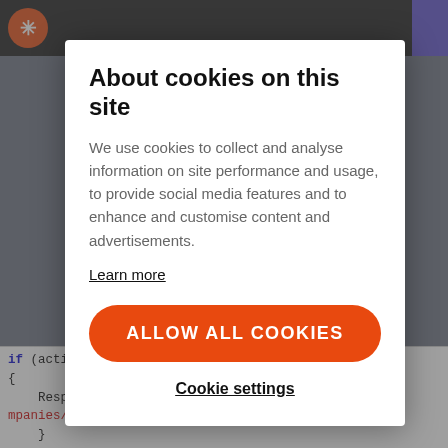About cookies on this site
We use cookies to collect and analyse information on site performance and usage, to provide social media features and to enhance and customise content and advertisements.
Learn more
ALLOW ALL COOKIES
Cookie settings
[Figure (screenshot): Code snippet showing C# if statement with actionName == 'edit' and Response.Redirect to CMSModules/Tech/Companies/Edit.aspx]